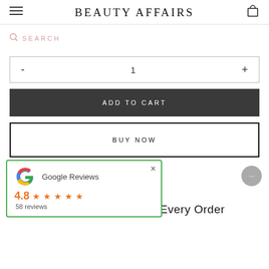BEAUTY AFFAIRS
SEARCH
- 1 +
ADD TO CART
BUY NOW
[Figure (screenshot): Google Reviews overlay showing 4.8 rating with 5 stars and 58 reviews]
2 Free Samples With Every Order